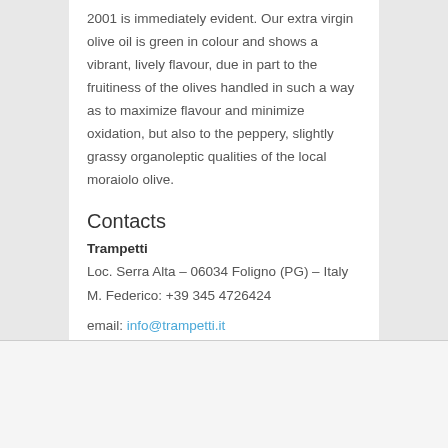2001 is immediately evident. Our extra virgin olive oil is green in colour and shows a vibrant, lively flavour, due in part to the fruitiness of the olives handled in such a way as to maximize flavour and minimize oxidation, but also to the peppery, slightly grassy organoleptic qualities of the local moraiolo olive.
Contacts
Trampetti
Loc. Serra Alta – 06034 Foligno (PG) – Italy
M. Federico: +39 345 4726424

email: info@trampetti.it